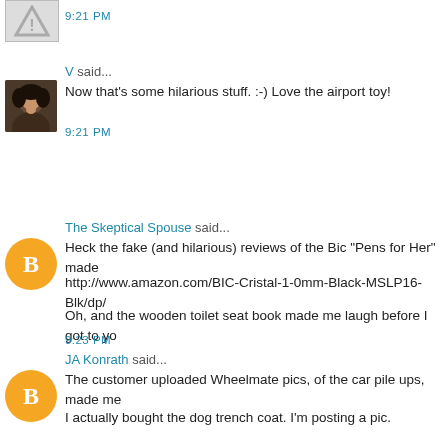9:21 PM
V said...
Now that's some hilarious stuff. :-) Love the airport toy!
9:21 PM
The Skeptical Spouse said...
Heck the fake (and hilarious) reviews of the Bic "Pens for Her" made
http://www.amazon.com/BIC-Cristal-1-0mm-Black-MSLP16-Blk/dp/
Oh, and the wooden toilet seat book made me laugh before I got to yo
9:23 PM
JA Konrath said...
The customer uploaded Wheelmate pics, of the car pile ups, made me
I actually bought the dog trench coat. I'm posting a pic.